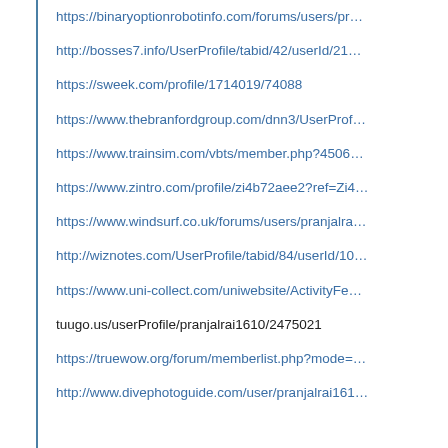https://binaryoptionrobotinfo.com/forums/users/pr…
http://bosses7.info/UserProfile/tabid/42/userId/21…
https://sweek.com/profile/1714019/74088
https://www.thebranfordgroup.com/dnn3/UserProf…
https://www.trainsim.com/vbts/member.php?4506…
https://www.zintro.com/profile/zi4b72aee2?ref=Zi4…
https://www.windsurf.co.uk/forums/users/pranjalra…
http://wiznotes.com/UserProfile/tabid/84/userId/10…
https://www.uni-collect.com/uniwebsite/ActivityFe…
tuugo.us/userProfile/pranjalrai1610/2475021
https://truewow.org/forum/memberlist.php?mode=…
http://www.divephotoguide.com/user/pranjalrai161…